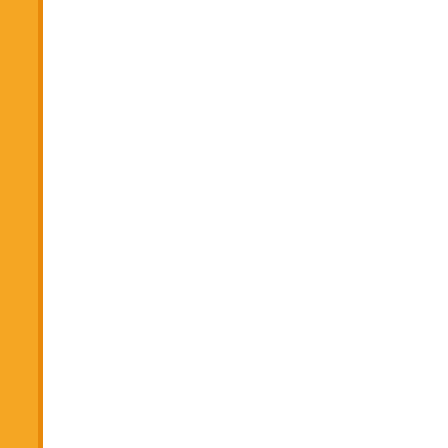| # | Date | Link |
| --- | --- | --- |
| 830. | 05/08/2015 | Question Bo... |
| 831. | 05/08/2015 | Question Bo... |
| 832. | 05/08/2015 | Question Bo... |
| 833. | 05/08/2015 | Question Bo... |
| 834. | 05/08/2015 | Question Bo... |
| 835. | 05/08/2015 | Question Bo... |
| 836. | 05/08/2015 | Question Bo... |
| 837. | 05/08/2015 | Question Bo... Engineering-... |
| 838. | 05/08/2015 | Question Bo... Engineering-... |
| 839. | 05/08/2015 | Question Bo... |
| 840. | 05/08/2015 | Question Bo... |
| 841. | 05/08/2015 | Question Bo... 2015 |
| 842. | 05/08/2015 | Question Bo... Studies -201... |
| 843. | 05/08/2015 | Question Bo... |